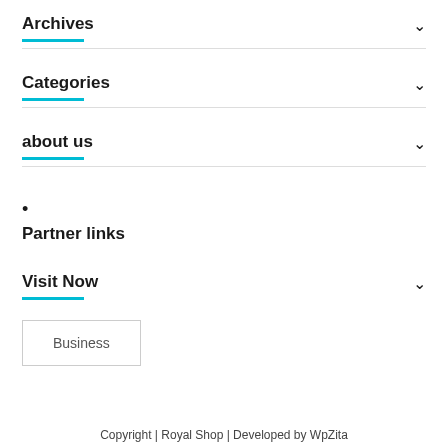Archives
Categories
about us
•
Partner links
Visit Now
Business
Copyright | Royal Shop | Developed by WpZita